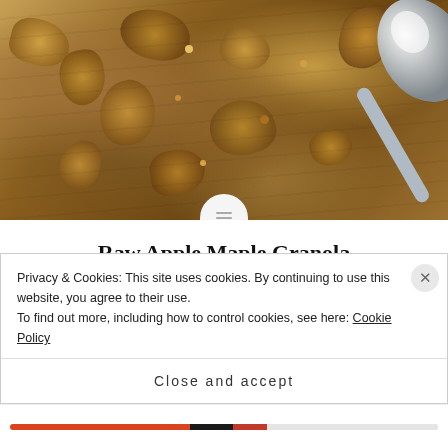[Figure (photo): Close-up photo of raw granola clusters (nuts, seeds, oats) scattered on a wooden surface with a silver spoon in the upper right corner.]
Raw Apple Maple Granola
This granola is a nutritious and delicious blend — partial text visible below title
Privacy & Cookies: This site uses cookies. By continuing to use this website, you agree to their use.
To find out more, including how to control cookies, see here: Cookie Policy
Close and accept